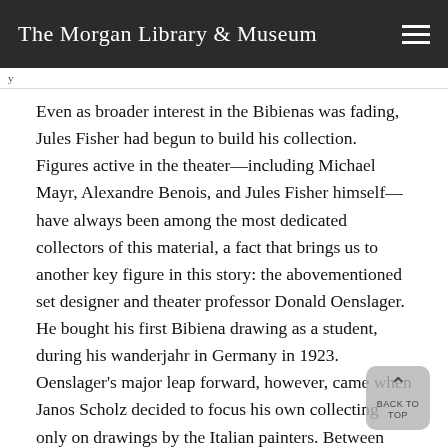The Morgan Library & Museum
Even as broader interest in the Bibienas was fading, Jules Fisher had begun to build his collection. Figures active in the theater—including Michael Mayr, Alexandre Benois, and Jules Fisher himself—have always been among the most dedicated collectors of this material, a fact that brings us to another key figure in this story: the abovementioned set designer and theater professor Donald Oenslager. He bought his first Bibiena drawing as a student, during his wanderjahr in Germany in 1923. Oenslager's major leap forward, however, came when Janos Scholz decided to focus his own collecting only on drawings by the Italian painters. Between 1949 and 1952, Scholz gave scores of ornament drawings to the Metropolitan Museum, and he sold his theater designs—including all the Bibiena drawings from the Mayr and Brandegee collections—to Oenslager. The latter would expand the collection far beyond the thirty or so Bibienas that came from Scholz. After Benois's death, Oenslager was able to buy